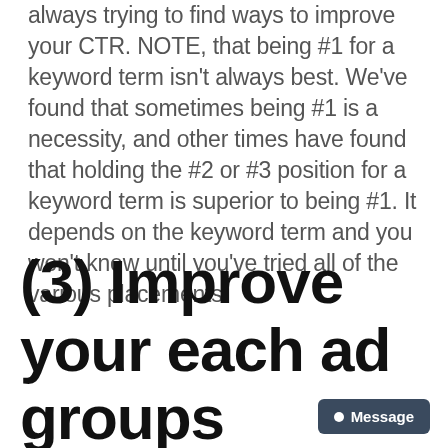always trying to find ways to improve your CTR. NOTE, that being #1 for a keyword term isn't always best. We've found that sometimes being #1 is a necessity, and other times have found that holding the #2 or #3 position for a keyword term is superior to being #1. It depends on the keyword term and you won't know until you've tried all of the various placements.
(3)  Improve your each ad groups landing page